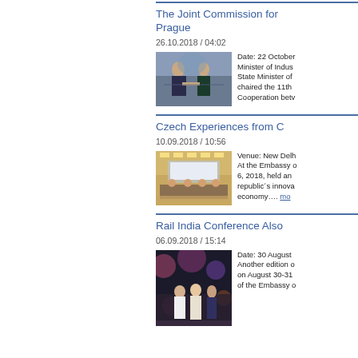The Joint Commission for Prague
26.10.2018 / 04:02
[Figure (photo): Two people shaking hands at a formal event]
Date: 22 October
Minister of Industry State Minister of chaired the 11th Cooperation betv
Czech Experiences from C
10.09.2018 / 10:56
[Figure (photo): Conference panel discussion with speakers at podium]
Venue: New Delh
At the Embassy o 6, 2018, held an republic´s innova economy.... more
Rail India Conference Also
06.09.2018 / 15:14
[Figure (photo): People at a conference event with lights in background]
Date: 30 August
Another edition o on August 30-31 of the Embassy o